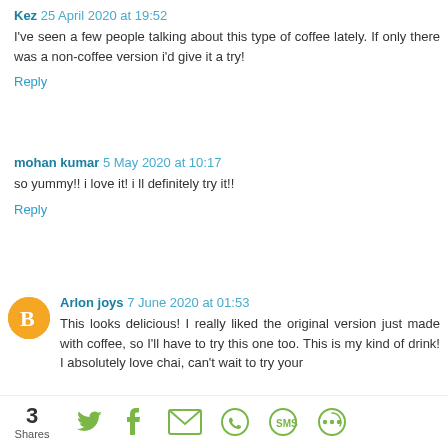Kez 25 April 2020 at 19:52
I've seen a few people talking about this type of coffee lately. If only there was a non-coffee version i'd give it a try!
Reply
mohan kumar 5 May 2020 at 10:17
so yummy!! i love it! i ll definitely try it!!
Reply
Arlon joys 7 June 2020 at 01:53
This looks delicious! I really liked the original version just made with coffee, so I'll have to try this one too. This is my kind of drink! I absolutely love chai, can't wait to try your
3 Shares [social share icons: Twitter, Facebook, Email, WhatsApp, SMS, Other]